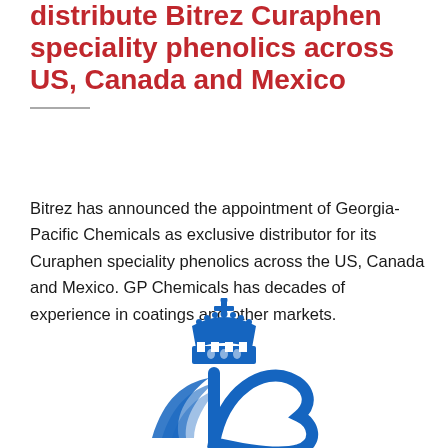distribute Bitrez Curaphen speciality phenolics across US, Canada and Mexico
Bitrez has announced the appointment of Georgia-Pacific Chemicals as exclusive distributor for its Curaphen speciality phenolics across the US, Canada and Mexico. GP Chemicals has decades of experience in coatings and other markets.
[Figure (logo): Bitrez company logo featuring a royal crown above a stylized letter B with a wing motif, in blue]